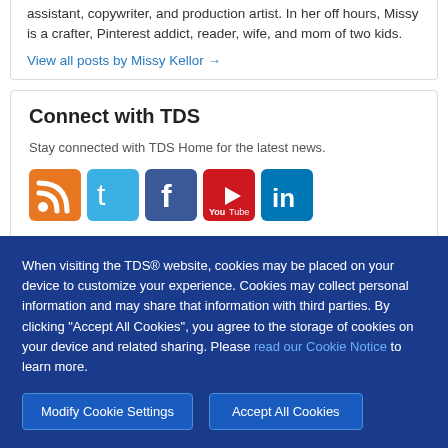assistant, copywriter, and production artist. In her off hours, Missy is a crafter, Pinterest addict, reader, wife, and mom of two kids.
View all posts by Missy Kellor →
Connect with TDS
Stay connected with TDS Home for the latest news.
[Figure (other): Social media icons: RSS, Twitter, Facebook, YouTube, LinkedIn]
When visiting the TDS® website, cookies may be placed on your device to customize your experience. Cookies may collect personal information and may share that information with third parties. By clicking "Accept All Cookies", you agree to the storage of cookies on your device and related sharing. Please read our Cookie Notice to learn more.
Modify Cookie Settings
Accept All Cookies